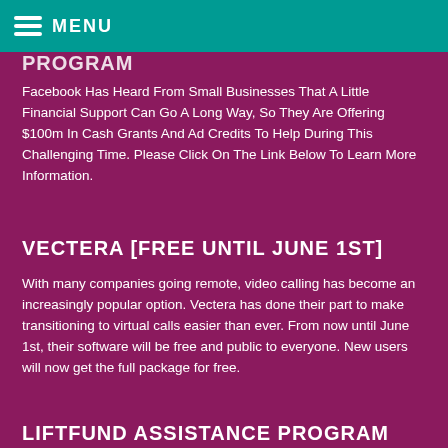MENU
PROGRAM
Facebook Has Heard From Small Businesses That A Little Financial Support Can Go A Long Way, So They Are Offering $100m In Cash Grants And Ad Credits To Help During This Challenging Time. Please Click On The Link Below To Learn More Information.
VECTERA [FREE UNTIL JUNE 1ST]
With many companies going remote, video calling has become an increasingly popular option. Vectera has done their part to make transitioning to virtual calls easier than ever. From now until June 1st, their software will be free and public to everyone. New users will now get the full package for free.
LIFTFUND ASSISTANCE PROGRAM